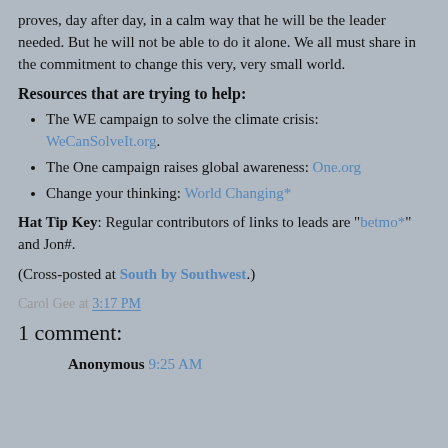proves, day after day, in a calm way that he will be the leader needed. But he will not be able to do it alone. We all must share in the commitment to change this very, very small world.
Resources that are trying to help:
The WE campaign to solve the climate crisis: WeCanSolveIt.org.
The One campaign raises global awareness: One.org
Change your thinking: World Changing*
Hat Tip Key: Regular contributors of links to leads are "betmo*" and Jon#.
(Cross-posted at South by Southwest.)
Carol Gee at 3:17 PM
1 comment:
Anonymous 9:25 AM